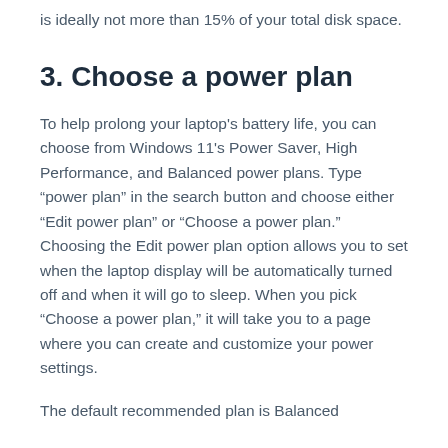is ideally not more than 15% of your total disk space.
3. Choose a power plan
To help prolong your laptop's battery life, you can choose from Windows 11's Power Saver, High Performance, and Balanced power plans. Type “power plan” in the search button and choose either “Edit power plan” or “Choose a power plan.” Choosing the Edit power plan option allows you to set when the laptop display will be automatically turned off and when it will go to sleep. When you pick “Choose a power plan,” it will take you to a page where you can create and customize your power settings.
The default recommended plan is Balanced